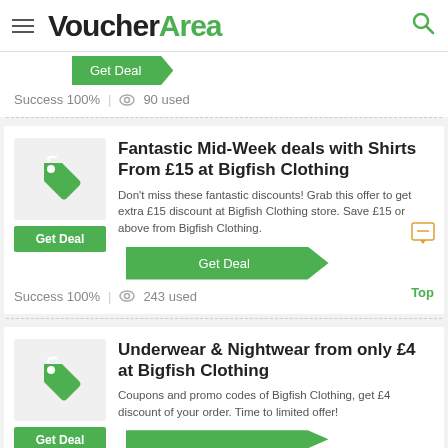VoucherArea
Get Deal | Success 100% | 90 used
Fantastic Mid-Week deals with Shirts From £15 at Bigfish Clothing
Don't miss these fantastic discounts! Grab this offer to get extra £15 discount at Bigfish Clothing store. Save £15 or above from Bigfish Clothing.
Get Deal
Success 100% | 243 used
Underwear & Nightwear from only £4 at Bigfish Clothing
Coupons and promo codes of Bigfish Clothing, get £4 discount of your order. Time to limited offer!